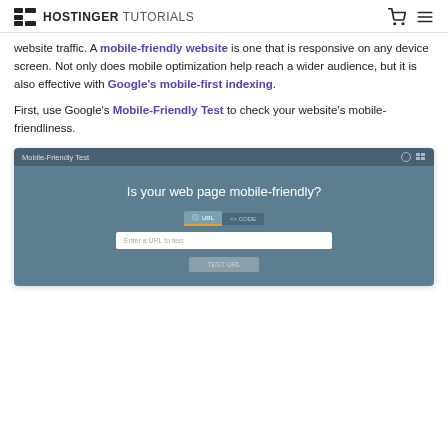HOSTINGER TUTORIALS
website traffic. A mobile-friendly website is one that is responsive on any device screen. Not only does mobile optimization help reach a wider audience, but it is also effective with Google's mobile-first indexing.
First, use Google's Mobile-Friendly Test to check your website's mobile-friendliness.
[Figure (screenshot): Screenshot of Google's Mobile-Friendly Test tool showing the question 'Is your web page mobile-friendly?' with URL and CODE tabs, a text input field labeled 'Enter a URL to test', and a TEST URL button.]